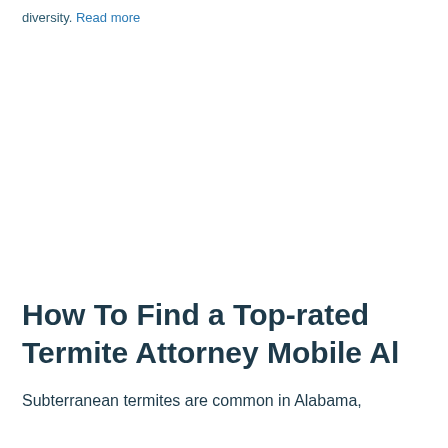diversity. Read more
How To Find a Top-rated Termite Attorney Mobile Al
Subterranean termites are common in Alabama,